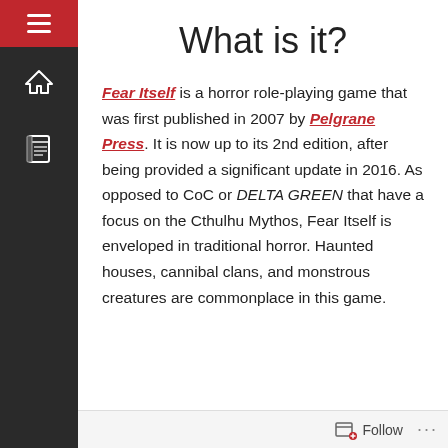What is it?
Fear Itself is a horror role-playing game that was first published in 2007 by Pelgrane Press. It is now up to its 2nd edition, after being provided a significant update in 2016. As opposed to CoC or DELTA GREEN that have a focus on the Cthulhu Mythos, Fear Itself is enveloped in traditional horror. Haunted houses, cannibal clans, and monstrous creatures are commonplace in this game.